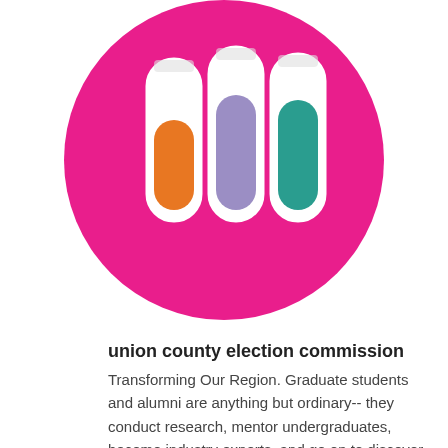[Figure (illustration): A circular pink/magenta background with three test tubes: one orange-filled, one purple-filled, and one teal-filled, arranged side by side on a white background.]
union county election commission
Transforming Our Region. Graduate students and alumni are anything but ordinary-- they conduct research, mentor undergraduates, become industry experts, and go on to discover novel approaches, patent new technologies, and transform our region for the better in ways both seen and unseen. Join us. Welcome to the Muir Family. John Muir College, the second undergraduate college at UCSD, is named after John Muir, the environmentalist, writer, founder of the Sierra Club. While we do not have an academic requirement that students study the environment, we do include environmental issues in the